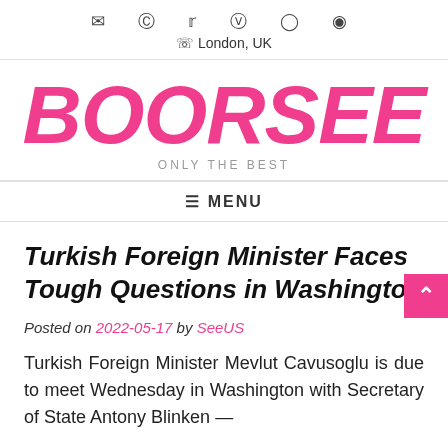✉ Facebook Twitter Skype LinkedIn Location | London, UK
BOORSEE
ONLY THE BEST
≡ MENU
Turkish Foreign Minister Faces Tough Questions in Washington
Posted on 2022-05-17 by SeeUS
Turkish Foreign Minister Mevlut Cavusoglu is due to meet Wednesday in Washington with Secretary of State Antony Blinken —